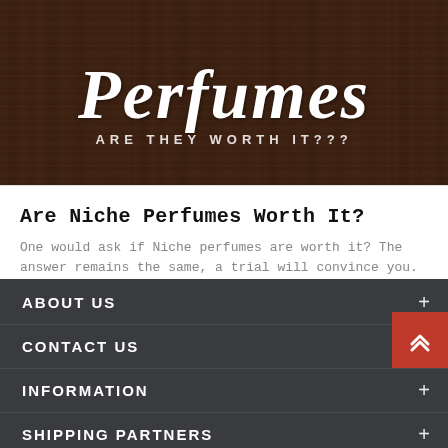[Figure (illustration): Dark wood background banner image with cursive white text 'Perfumes' and subtitle 'ARE THEY WORTH IT???' in uppercase spaced letters]
Are Niche Perfumes Worth It?
One would ask if Niche perfumes are worth it? The answer remains the same, a trial will convince you. These perfumes are made with ingredients that are pronounced, striking, and captured with a superior finesse that most designer perfumes...
Read More →
ABOUT US +
CONTACT US +
INFORMATION +
SHIPPING PARTNERS +